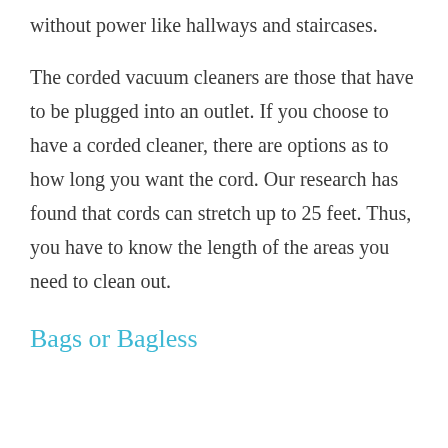without power like hallways and staircases.
The corded vacuum cleaners are those that have to be plugged into an outlet. If you choose to have a corded cleaner, there are options as to how long you want the cord. Our research has found that cords can stretch up to 25 feet. Thus, you have to know the length of the areas you need to clean out.
Bags or Bagless